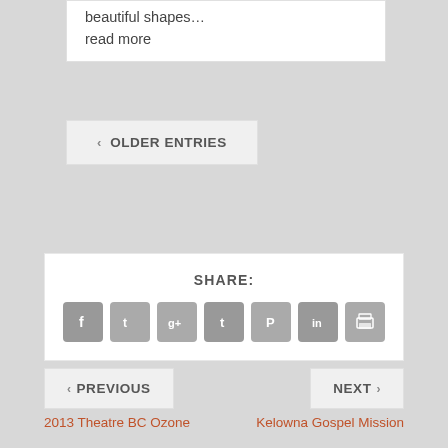beautiful shapes… read more
‹ OLDER ENTRIES
SHARE:
[Figure (other): Social share icon buttons: Facebook, Twitter, Google+, Tumblr, Pinterest, LinkedIn, Print]
‹ PREVIOUS
NEXT ›
2013 Theatre BC Ozone
Kelowna Gospel Mission